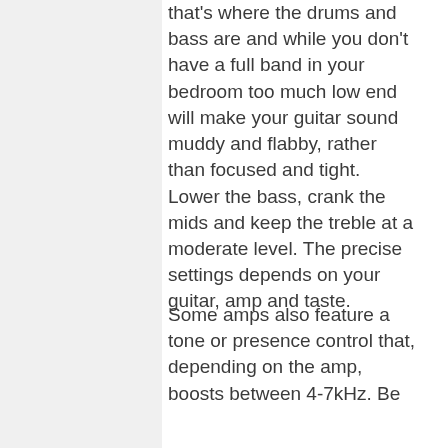that's where the drums and bass are and while you don't have a full band in your bedroom too much low end will make your guitar sound muddy and flabby, rather than focused and tight. Lower the bass, crank the mids and keep the treble at a moderate level. The precise settings depends on your guitar, amp and taste.
Some amps also feature a tone or presence control that, depending on the amp, boosts between 4-7kHz. Be